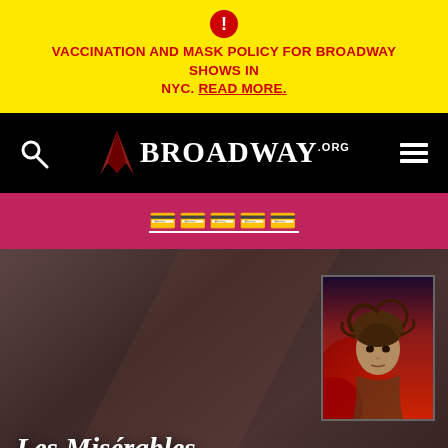VACCINATION AND MASK POLICY FOR BROADWAY SHOWS IN NYC. READ MORE.
[Figure (logo): Broadway.org logo with crown icon on black navigation bar with search and menu icons]
🍪🍪🍪🍪🍪
[Figure (illustration): Les Misérables show poster thumbnail showing the iconic Cosette character illustration with red background. Hero section with dark brownish-red gradient background.]
Les Misérables